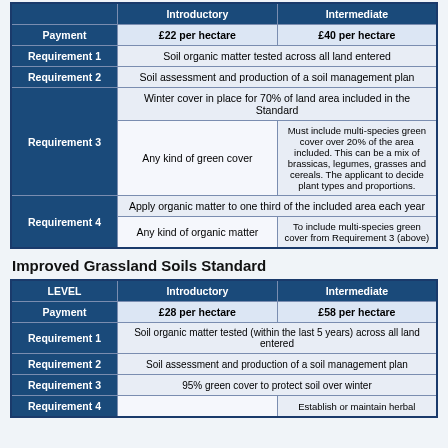|  | Introductory | Intermediate |
| --- | --- | --- |
| Payment | £22 per hectare | £40 per hectare |
| Requirement 1 | Soil organic matter tested across all land entered | Soil organic matter tested across all land entered |
| Requirement 2 | Soil assessment and production of a soil management plan | Soil assessment and production of a soil management plan |
| Requirement 3 (span) | Winter cover in place for 70% of land area included in the Standard |  |
| Requirement 3 | Any kind of green cover | Must include multi-species green cover over 20% of the area included. This can be a mix of brassicas, legumes, grasses and cereals. The applicant to decide plant types and proportions. |
| Requirement 4 (span) | Apply organic matter to one third of the included area each year |  |
| Requirement 4 | Any kind of organic matter | To include multi-species green cover from Requirement 3 (above) |
Improved Grassland Soils Standard
| LEVEL | Introductory | Intermediate |
| --- | --- | --- |
| Payment | £28 per hectare | £58 per hectare |
| Requirement 1 | Soil organic matter tested (within the last 5 years) across all land entered |  |
| Requirement 2 | Soil assessment and production of a soil management plan |  |
| Requirement 3 | 95% green cover to protect soil over winter |  |
| Requirement 4 |  | Establish or maintain herbal |